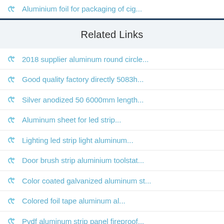Aluminium foil for packaging of cig...
Related Links
2018 supplier aluminum round circle...
Good quality factory directly 5083h...
Silver anodized 50 6000mm length...
Aluminum sheet for led strip...
Lighting led strip light aluminum...
Door brush strip aluminium toolstat...
Color coated galvanized aluminum st...
Colored foil tape aluminum al...
Pvdf aluminum strip panel fireproof...
Aluminum table for sliding the...